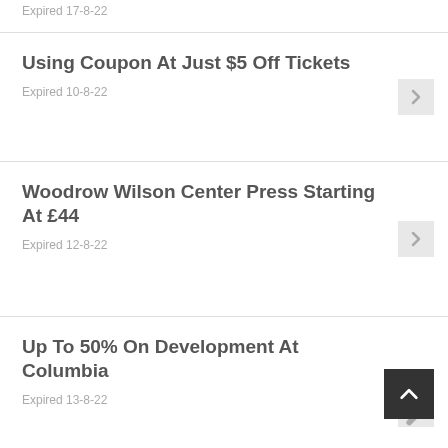Expired 17-8-22
Using Coupon At Just $5 Off Tickets
Expired 10-8-22
Woodrow Wilson Center Press Starting At £44
Expired 12-8-22
Up To 50% On Development At Columbia
Expired 13-8-22